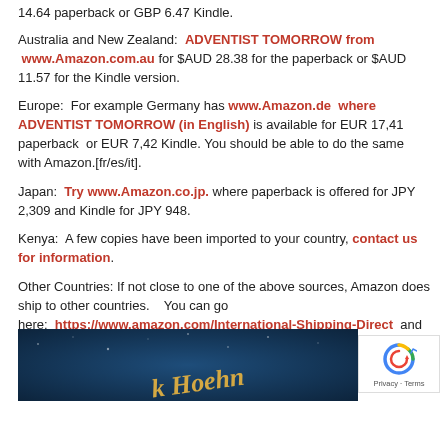14.64 paperback or GBP 6.47 Kindle.
Australia and New Zealand:  ADVENTIST TOMORROW from www.Amazon.com.au for $AUD 28.38 for the paperback or $AUD 11.57 for the Kindle version.
Europe:  For example Germany has www.Amazon.de  where ADVENTIST TOMORROW (in English) is available for EUR 17,41 paperback  or EUR 7,42 Kindle. You should be able to do the same with Amazon.[fr/es/it].
Japan:  Try www.Amazon.co.jp. where paperback is offered for JPY 2,309 and Kindle for JPY 948.
Kenya:  A few copies have been imported to your country, contact us for information.
Other Countries: If not close to one of the above sources, Amazon does ship to other countries.   You can go here:  https://www.amazon.com/International-Shipping-Direct  and find out if a printed book could be shipped directly to you, and what shipping costs would be.  Kindle electronic versions have no shipping costs.
[Figure (photo): Photo of a book with gold italic text 'k Hoehn' visible on a dark blue background]